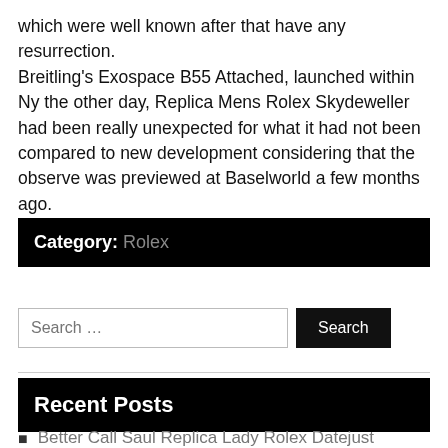which were well known after that have any resurrection. Breitling's Exospace B55 Attached, launched within Ny the other day, Replica Mens Rolex Skydeweller had been really unexpected for what it had not been compared to new development considering that the observe was previewed at Baselworld a few months ago.
Category: Rolex
Search …
Recent Posts
Better Call Saul Replica Lady Rolex Datejust